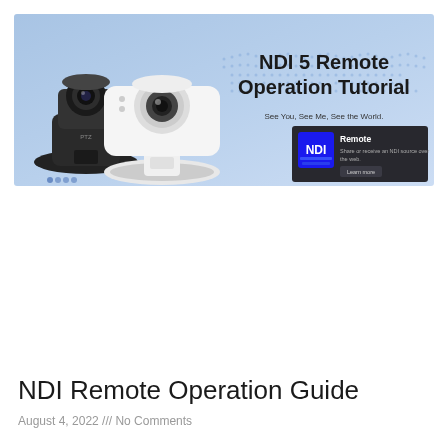[Figure (photo): Banner image for NDI 5 Remote Operation Tutorial showing two PTZ cameras (one black, one white) on a light blue background with a world map graphic. Text reads 'NDI 5 Remote Operation Tutorial' and 'See You, See Me, See the World.' A dark overlay card in the bottom-right shows the NDI Remote plugin with logo, description 'Share or receive an NDI source over the web.' and a 'Learn more' button.]
NDI Remote Operation Guide
August 4, 2022 /// No Comments